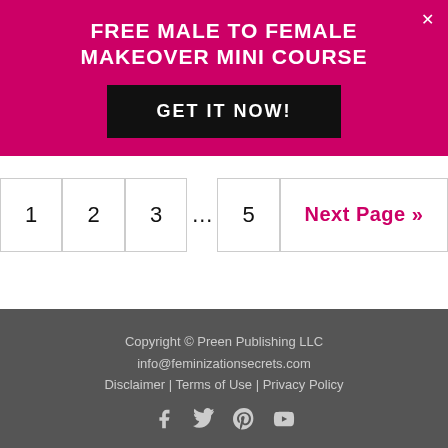FREE MALE TO FEMALE MAKEOVER MINI COURSE
GET IT NOW!
1  2  3  …  5  Next Page »
Copyright © Preen Publishing LLC
info@feminizationsecrets.com
Disclaimer | Terms of Use | Privacy Policy